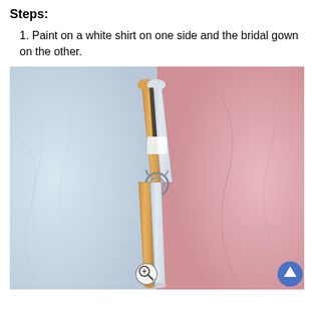Steps:
1. Paint on a white shirt on one side and the bridal gown on the other.
[Figure (photo): A clothespin/wooden peg clip painted half natural wood color (left side) and half white/silver (right side), placed vertically against a crumpled plastic bag background that is white/blue on the left and pink on the right. A metal spring is visible at the center of the clip. A zoom icon and an upward arrow button appear at the bottom of the image.]